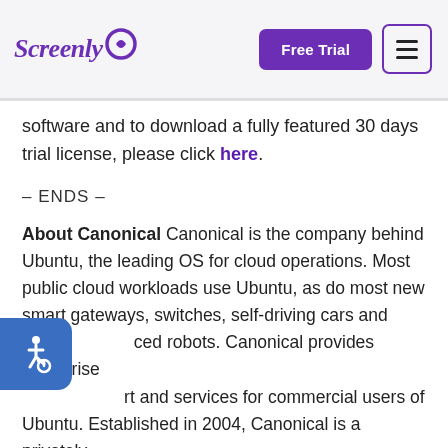Screenly — Free Trial [navigation]
software and to download a fully featured 30 days trial license, please click here.
– ENDS –
About Canonical Canonical is the company behind Ubuntu, the leading OS for cloud operations. Most public cloud workloads use Ubuntu, as do most new smart gateways, switches, self-driving cars and advanced robots. Canonical provides enterprise support and services for commercial users of Ubuntu. Established in 2004, Canonical is a privately held company. For further information please click
[Figure (illustration): Accessibility icon button (wheelchair user symbol) in blue rounded rectangle on left side of page]